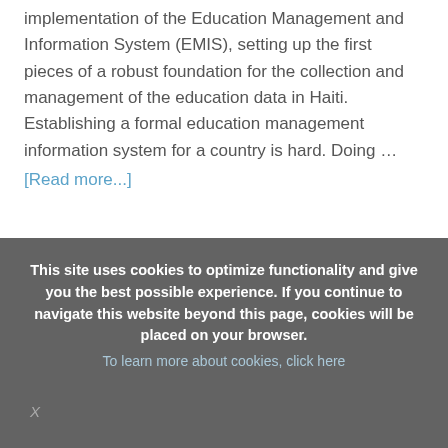implementation of the Education Management and Information System (EMIS), setting up the first pieces of a robust foundation for the collection and management of the education data in Haiti. Establishing a formal education management information system for a country is hard. Doing … [Read more...]
This site uses cookies to optimize functionality and give you the best possible experience. If you continue to navigate this website beyond this page, cookies will be placed on your browser. To learn more about cookies, click here